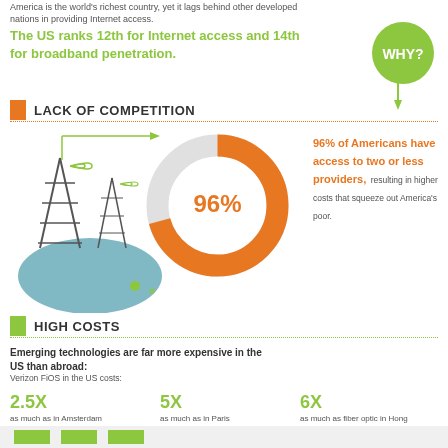America is the world's richest country, yet it lags behind other developed nations in providing Internet access.
The US ranks 12th for Internet access and 14th for broadband penetration.
[Figure (infographic): Green circle bubble with text WHY?]
LACK OF COMPETITION
[Figure (infographic): Tower illustrations with teal circle background, arrows pointing down]
[Figure (donut-chart): 96% of Americans have access to two or less providers]
96% of Americans have access to two or less providers, resulting in higher costs that squeeze out America's poor.
HIGH COSTS
Emerging technologies are far more expensive in the US than abroad:
Verizon FiOS in the US costs:
2.5X as much as in Amsterdam
5X as much as in Paris
6X as much as fiber optic in Hong Kong.